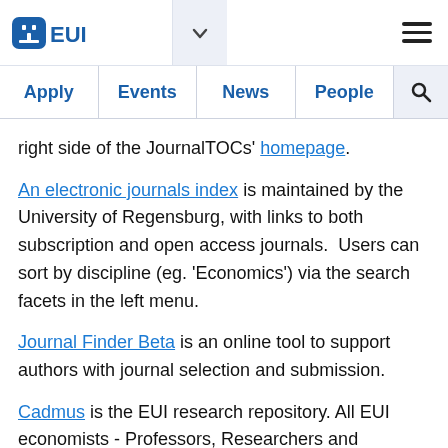EUI — Apply | Events | News | People | Search
right side of the JournalTOCs' homepage.
An electronic journals index is maintained by the University of Regensburg, with links to both subscription and open access journals. Users can sort by discipline (eg. 'Economics') via the search facets in the left menu.
Journal Finder Beta is an online tool to support authors with journal selection and submission.
Cadmus is the EUI research repository. All EUI economists - Professors, Researchers and